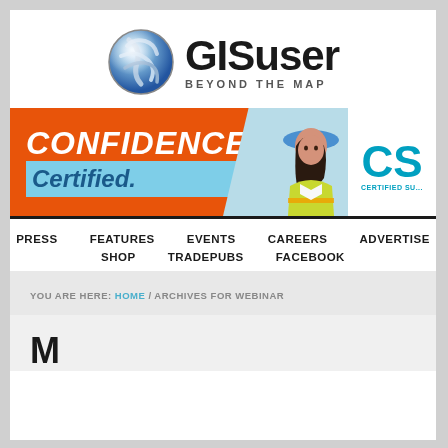[Figure (logo): GISuser 'Beyond the Map' logo with blue metallic globe icon and bold GISuser wordmark]
[Figure (photo): Banner advertisement: CONFIDENCE Certified. with woman in hard hat and hi-vis vest, Certified Survey logo]
PRESS  FEATURES  EVENTS  CAREERS  ADVERTISE  SHOP  TRADEPUBS  FACEBOOK
YOU ARE HERE: HOME / ARCHIVES FOR WEBINAR
M...